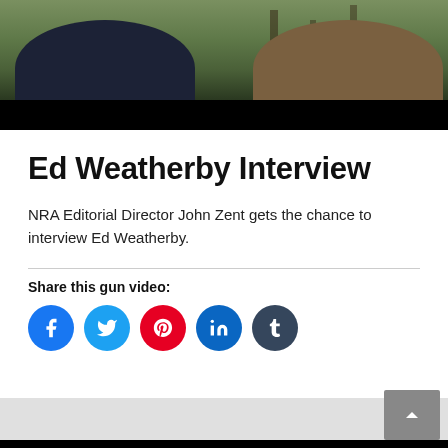[Figure (photo): Video thumbnail showing two people seated outdoors with trees and green foliage in background, lower portion shows black letterbox bar]
Ed Weatherby Interview
NRA Editorial Director John Zent gets the chance to interview Ed Weatherby.
Share this gun video:
[Figure (other): Social share buttons: Facebook, Twitter, Pinterest, LinkedIn, Tumblr]